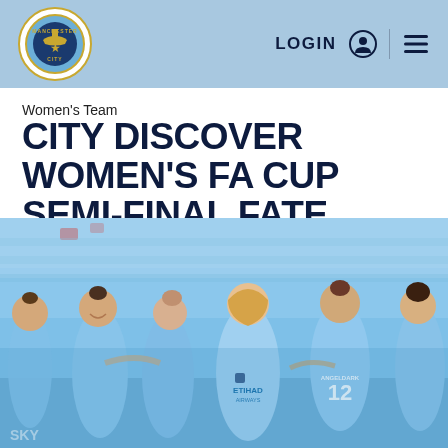Manchester City – LOGIN ☰
Women's Team
CITY DISCOVER WOMEN'S FA CUP SEMI-FINAL FATE
[Figure (photo): Manchester City women's football players in light blue Etihad Airways kits celebrating together on the pitch, with empty blue stadium seats in the background. Player number 12 (Angeldark) is visible on the right.]